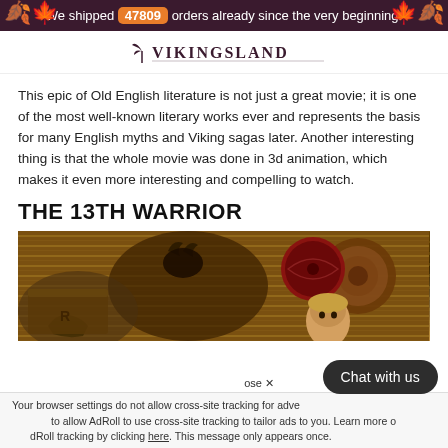We shipped 47809 orders already since the very beginning.
[Figure (logo): VikingsLand logo text with decorative elements]
This epic of Old English literature is not just a great movie; it is one of the most well-known literary works ever and represents the basis for many English myths and Viking sagas later. Another interesting thing is that the whole movie was done in 3d animation, which makes it even more interesting and compelling to watch.
THE 13TH WARRIOR
[Figure (photo): Movie scene from The 13th Warrior showing a young person with a round shield, animals and hay bales in background]
Your browser settings do not allow cross-site tracking for advertising. Update your browser settings to allow AdRoll to use cross-site tracking to tailor ads to you. Learn more or opt out of AdRoll tracking by clicking here. This message only appears once.